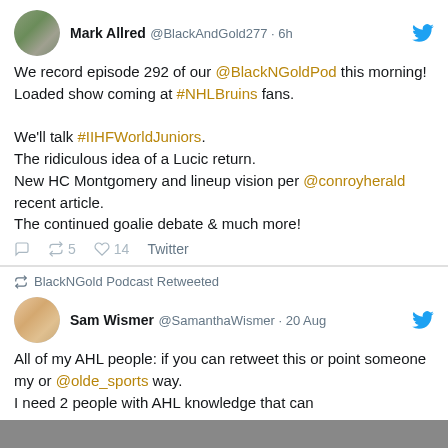Mark Allred @BlackAndGold277 · 6h
We record episode 292 of our @BlackNGoldPod this morning! Loaded show coming at #NHLBruins fans.

We'll talk #IIHFWorldJuniors.
The ridiculous idea of a Lucic return.
New HC Montgomery and lineup vision per @conroyherald recent article.
The continued goalie debate & much more!
5 retweets 14 likes Twitter
BlackNGold Podcast Retweeted
Sam Wismer @SamanthaWismer · 20 Aug
All of my AHL people: if you can retweet this or point someone my or @olde_sports way.
I need 2 people with AHL knowledge that can